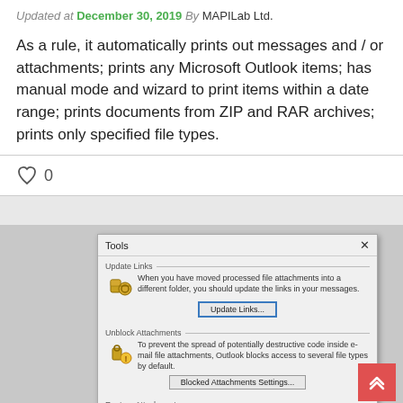Updated at December 30, 2019 By MAPILab Ltd.
As a rule, it automatically prints out messages and / or attachments; prints any Microsoft Outlook items; has manual mode and wizard to print items within a date range; prints documents from ZIP and RAR archives; prints only specified file types.
0
[Figure (screenshot): Dialog box titled 'Tools' showing three sections: Update Links, Unblock Attachments, and Restore Attachments, each with an icon, description text, and a button. A red scroll-to-top button appears in the bottom right corner.]